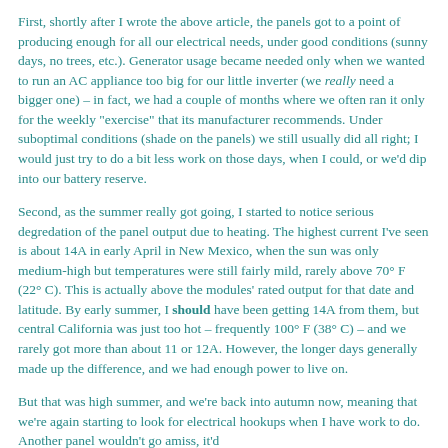First, shortly after I wrote the above article, the panels got to a point of producing enough for all our electrical needs, under good conditions (sunny days, no trees, etc.). Generator usage became needed only when we wanted to run an AC appliance too big for our little inverter (we really need a bigger one) – in fact, we had a couple of months where we often ran it only for the weekly "exercise" that its manufacturer recommends. Under suboptimal conditions (shade on the panels) we still usually did all right; I would just try to do a bit less work on those days, when I could, or we'd dip into our battery reserve.
Second, as the summer really got going, I started to notice serious degredation of the panel output due to heating. The highest current I've seen is about 14A in early April in New Mexico, when the sun was only medium-high but temperatures were still fairly mild, rarely above 70° F (22° C). This is actually above the modules' rated output for that date and latitude. By early summer, I should have been getting 14A from them, but central California was just too hot – frequently 100° F (38° C) – and we rarely got more than about 11 or 12A. However, the longer days generally made up the difference, and we had enough power to live on.
But that was high summer, and we're back into autumn now, meaning that we're again starting to look for electrical hookups when I have work to do. Another panel wouldn't go amiss, it'd